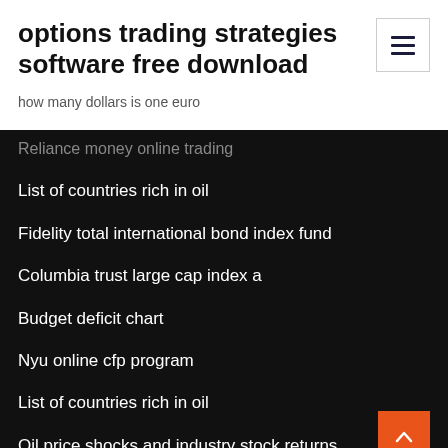options trading strategies software free download
how many dollars is one euro
Reliance money online trading
List of countries rich in oil
Fidelity total international bond index fund
Columbia trust large cap index a
Budget deficit chart
Nyu online cfp program
List of countries rich in oil
Oil price shocks and industry stock returns
Us to europe money converter